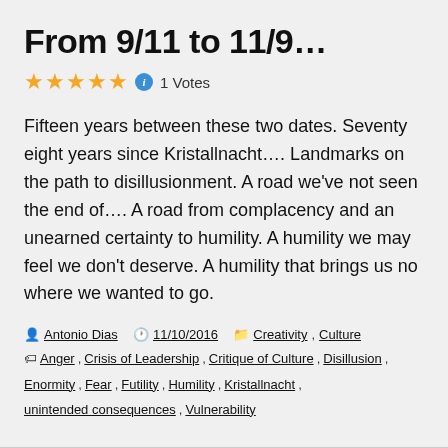From 9/11 to 11/9...
★★★★★ ⓘ 1 Votes
Fifteen years between these two dates. Seventy eight years since Kristallnacht…. Landmarks on the path to disillusionment. A road we've not seen the end of…. A road from complacency and an unearned certainty to humility. A humility we may feel we don't deserve. A humility that brings us no where we wanted to go.
Antonio Dias  11/10/2016  Creativity, Culture  Anger, Crisis of Leadership, Critique of Culture, Disillusion, Enormity, Fear, Futility, Humility, Kristallnacht, unintended consequences, Vulnerability